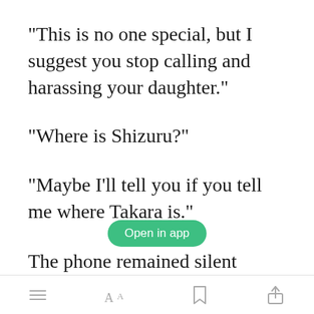"This is no one special, but I suggest you stop calling and harassing your daughter."
"Where is Shizuru?"
"Maybe I'll tell you if you tell me where Takara is."
[Figure (screenshot): Green 'Open in app' button overlay]
The phone remained silent
Toolbar with menu, font, bookmark, and share icons